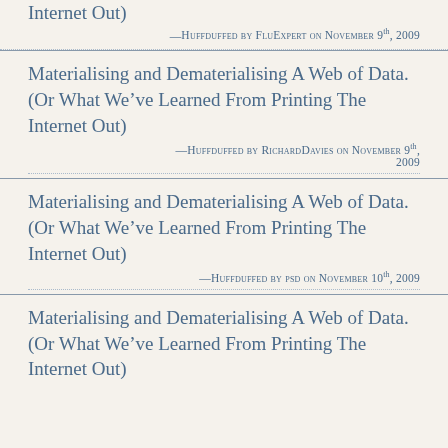Internet Out)
—Huffduffed by FluExpert on November 9th, 2009
Materialising and Dematerialising A Web of Data. (Or What We’ve Learned From Printing The Internet Out)
—Huffduffed by RichardDavies on November 9th, 2009
Materialising and Dematerialising A Web of Data. (Or What We’ve Learned From Printing The Internet Out)
—Huffduffed by psd on November 10th, 2009
Materialising and Dematerialising A Web of Data. (Or What We’ve Learned From Printing The Internet Out)